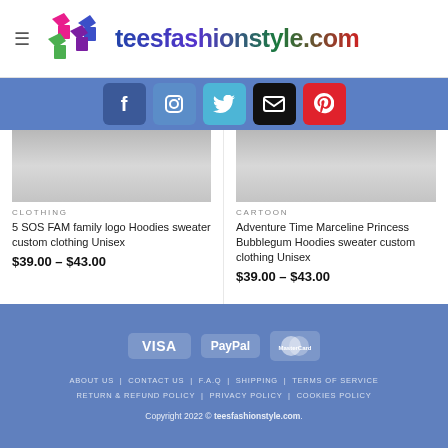teesfashionstyle.com
[Figure (screenshot): Social media icon bar with Facebook, Instagram, Twitter, Email, and Pinterest buttons on a blue background]
[Figure (photo): Gray hoodie sweater product image]
CLOTHING
5 SOS FAM family logo Hoodies sweater custom clothing Unisex
$39.00 – $43.00
[Figure (photo): Gray hoodie sweater product image]
CARTOON
Adventure Time Marceline Princess Bubblegum Hoodies sweater custom clothing Unisex
$39.00 – $43.00
VISA PayPal MasterCard | ABOUT US  CONTACT US  F.A.Q  SHIPPING  TERMS OF SERVICE  RETURN & REFUND POLICY  PRIVACY POLICY  COOKIES POLICY | Copyright 2022 © teesfashionstyle.com.